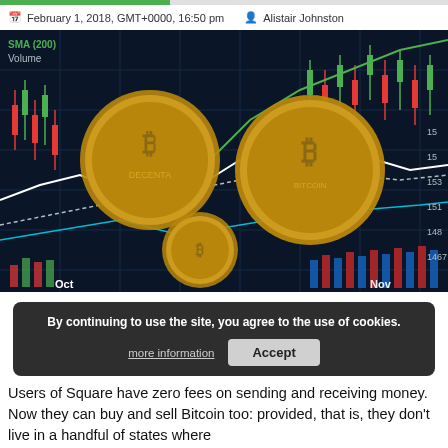February 1, 2018, GMT+0000, 16:50 pm | Alistair Johnston
[Figure (photo): Bitcoin gold coins overlaid on a stock market trading chart display showing candlestick charts, moving averages, volume bars, and price levels including labels for SMA (200), Volume, Oct, Nov, and price values 1467–1538]
By continuing to use the site, you agree to the use of cookies.
Users of Square have zero fees on sending and receiving money. Now they can buy and sell Bitcoin too: provided, that is, they don't live in a handful of states where